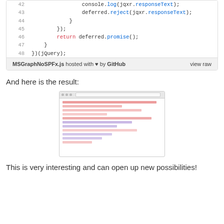[Figure (screenshot): Code block showing lines 42-48 of MSGraphNoSPFx.js with syntax highlighting. Line 42: console.log(jqxr.responseText); Line 43: deferred.reject(jqxr.responseText); Line 44: } Line 45: }); Line 46: return deferred.promise(); Line 47: } Line 48: })(jQuery); Footer shows filename MSGraphNoSPFx.js hosted with heart by GitHub and view raw link.]
And here is the result:
[Figure (screenshot): Browser screenshot showing a result page with red and purple text lines, resembling a JSON or XML response viewer.]
This is very interesting and can open up new possibilities!